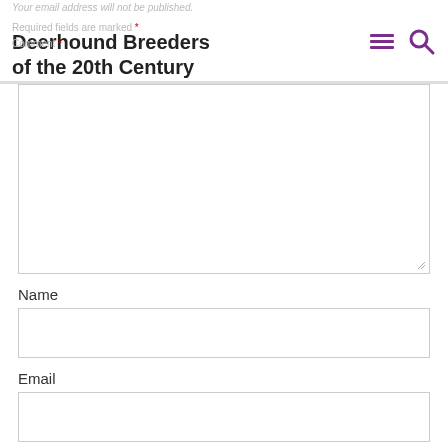Deerhound Breeders of the 20th Century
Comment *
Name
Email